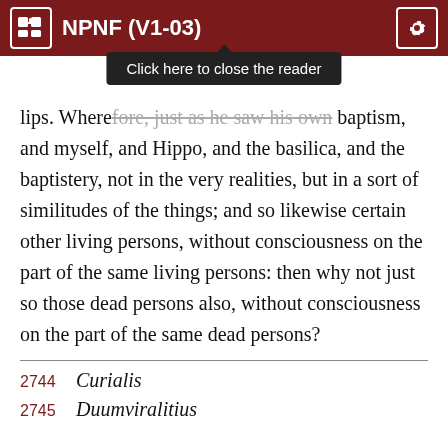NPNF (V1-03)
lips. Wherefore, just as he saw his own baptism, and myself, and Hippo, and the basilica, and the baptistery, not in the very realities, but in a sort of similitudes of the things; and so likewise certain other living persons, without consciousness on the part of the same living persons: then why not just so those dead persons also, without consciousness on the part of the same dead persons?
2744  Curialis
2745  Duumviralitius